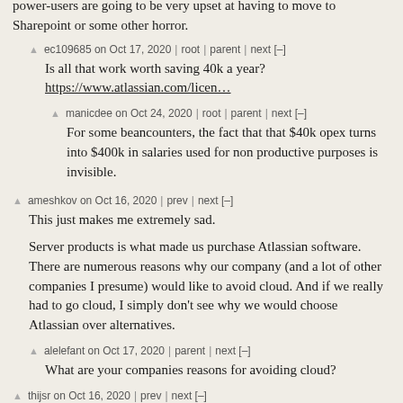power-users are going to be very upset at having to move to Sharepoint or some other horror.
ec109685 on Oct 17, 2020 | root | parent | next [–]
Is all that work worth saving 40k a year? https://www.atlassian.com/licen…
manicdee on Oct 24, 2020 | root | parent | next [–]
For some beancounters, the fact that that $40k opex turns into $400k in salaries used for non productive purposes is invisible.
ameshkov on Oct 16, 2020 | prev | next [–]
This just makes me extremely sad.
Server products is what made us purchase Atlassian software. There are numerous reasons why our company (and a lot of other companies I presume) would like to avoid cloud. And if we really had to go cloud, I simply don't see why we would choose Atlassian over alternatives.
alelefant on Oct 17, 2020 | parent | next [–]
What are your companies reasons for avoiding cloud?
thijsr on Oct 16, 2020 | prev | next [–]
This is a big problem for our non-profit organization. All of our documentation is stored in Confluence. We are fortunate enough to use a free Community license for self